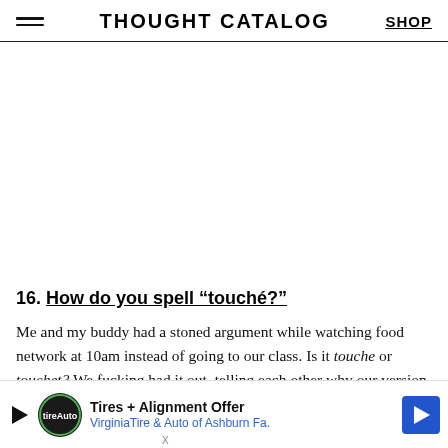THOUGHT CATALOG | SHOP
16. How do you spell “tuché?”
Me and my buddy had a stoned argument while watching food network at 10am instead of going to our class. Is it touche or touchet? We fucking had it out, telling each other why our version was correct, and more importantly, why the other pe... guys. We brav...
[Figure (other): Advertisement banner: Tires + Alignment Offer - VirginiaTire & Auto of Ashburn Fa.]